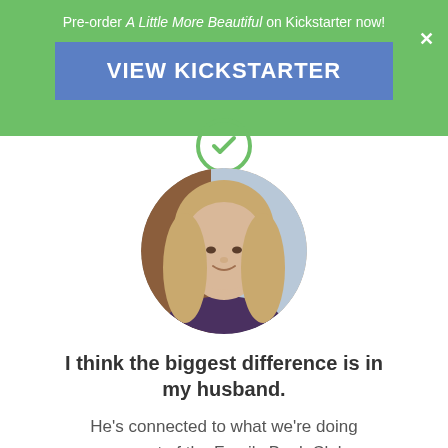Pre-order A Little More Beautiful on Kickstarter now!
VIEW KICKSTARTER
[Figure (illustration): Green circle with a checkmark/forward icon]
[Figure (photo): Circular cropped portrait photo of a woman with long blonde hair, smiling slightly]
I think the biggest difference is in my husband.
He's connected to what we're doing as a part of the Family Book Club,